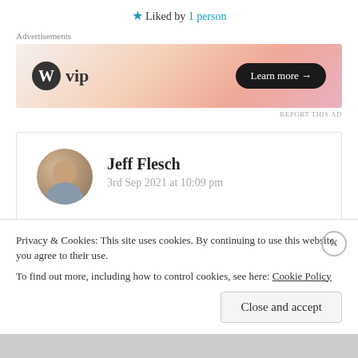★ Liked by 1 person
Advertisements
[Figure (illustration): WordPress VIP advertisement banner with gradient orange/pink background and 'Learn more →' button]
REPORT THIS AD
Jeff Flesch
3rd Sep 2021 at 10:09 pm
This is a beautifully created and delivered poem, dear Suma. Much feeling and the flow is very
Privacy & Cookies: This site uses cookies. By continuing to use this website, you agree to their use.
To find out more, including how to control cookies, see here: Cookie Policy
Close and accept